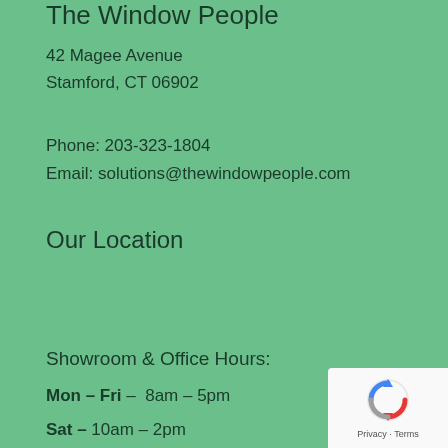The Window People
42 Magee Avenue
Stamford, CT 06902
Phone: 203-323-1804
Email: solutions@thewindowpeople.com
Our Location
Showroom & Office Hours:
Mon – Fri –  8am – 5pm
Sat – 10am – 2pm
[Figure (logo): Google reCAPTCHA badge with recycling-arrow icon and 'Privacy · Terms' text]